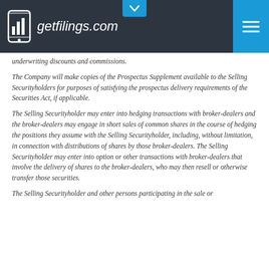getfilings.com
underwriting discounts and commissions.
The Company will make copies of the Prospectus Supplement available to the Selling Securityholders for purposes of satisfying the prospectus delivery requirements of the Securities Act, if applicable.
The Selling Securityholder may enter into hedging transactions with broker-dealers and the broker-dealers may engage in short sales of common shares in the course of hedging the positions they assume with the Selling Securityholder, including, without limitation, in connection with distributions of shares by those broker-dealers. The Selling Securityholder may enter into option or other transactions with broker-dealers that involve the delivery of shares to the broker-dealers, who may then resell or otherwise transfer those securities.
The Selling Securityholder and other persons participating in the sale or